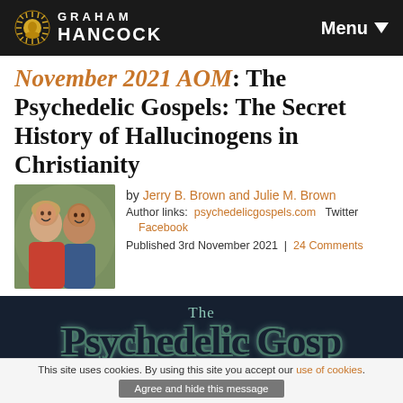GRAHAM HANCOCK — Menu
November 2021 AOM: The Psychedelic Gospels: The Secret History of Hallucinogens in Christianity
by Jerry B. Brown and Julie M. Brown
Author links: psychedelicgospels.com   Twitter
Facebook
Published 3rd November 2021 | 24 Comments
[Figure (photo): Photo of two authors, a woman and a man smiling together outdoors]
[Figure (photo): Book cover strip showing 'The Psychedelic Gospels' on dark navy background]
This site uses cookies. By using this site you accept our use of cookies.
Agree and hide this message